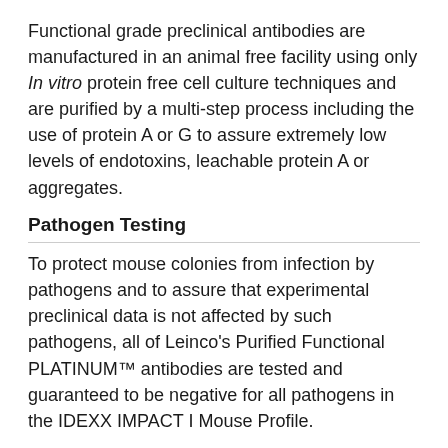Functional grade preclinical antibodies are manufactured in an animal free facility using only In vitro protein free cell culture techniques and are purified by a multi-step process including the use of protein A or G to assure extremely low levels of endotoxins, leachable protein A or aggregates.
Pathogen Testing
To protect mouse colonies from infection by pathogens and to assure that experimental preclinical data is not affected by such pathogens, all of Leinco's Purified Functional PLATINUM™ antibodies are tested and guaranteed to be negative for all pathogens in the IDEXX IMPACT I Mouse Profile.
Storage and Handling
Functional grade preclinical antibodies may be stored sterile as received at 2-8°C for up to one month. For longer term storage, aseptically aliquot in working